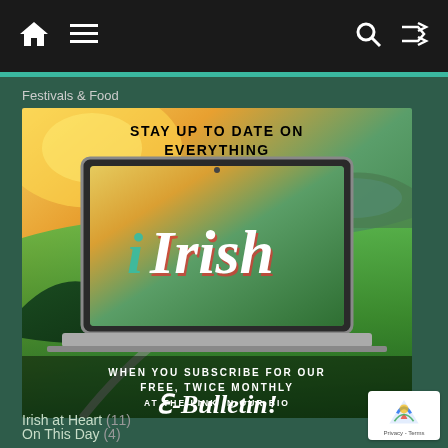Navigation bar with home, menu, search, shuffle icons
Festivals & Food
[Figure (illustration): iIrish e-bulletin subscription advertisement. Shows a laptop with aerial Irish countryside landscape. Text reads: STAY UP TO DATE ON EVERYTHING iIrish WHEN YOU SUBSCRIBE FOR OUR FREE, TWICE MONTHLY E-Bulletin! AT THE LINK IN OUR BIO]
On This Day (4)
Irish at Heart (11)